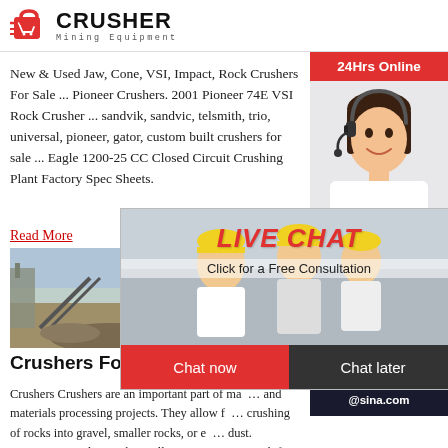CRUSHER Mining Equipment
New & Used Jaw, Cone, VSI, Impact, Rock Crushers For Sale ... Pioneer Crushers. 2001 Pioneer 74E VSI Rock Crusher ... sandvik, sandvic, telsmith, trio, universal, pioneer, gator, custom built crushers for sale ... Eagle 1200-25 CC Closed Circuit Crushing Plant Factory Spec Sheets.
Read More
[Figure (photo): Mining equipment / quarry landscape photo]
[Figure (photo): Live chat popup overlay with workers in hard hats, LIVE CHAT heading, Click for a Free Consultation, Chat now and Chat later buttons]
[Figure (infographic): Right sidebar: 24Hrs Online bar, customer service rep photo, Need questions & suggestion? chat now button, Enquiry section, limingjlmofen@sina.com email]
Crushers For Sale – Equipment Tr...
Crushers Crushers are an important part of many industrial and materials processing projects. They allow for the crushing of rocks into gravel, smaller rocks, or even dust. Equipment Trader's website allows users to search for the best models near to their zip code from the